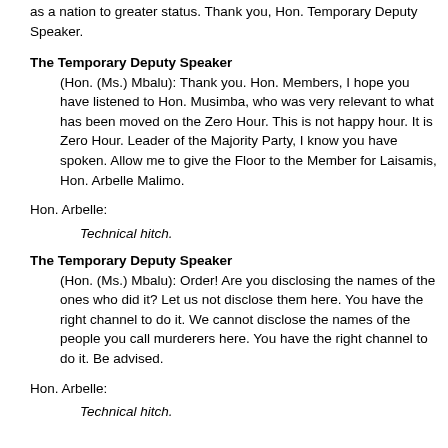as a nation to greater status. Thank you, Hon. Temporary Deputy Speaker.
The Temporary Deputy Speaker
(Hon. (Ms.) Mbalu): Thank you. Hon. Members, I hope you have listened to Hon. Musimba, who was very relevant to what has been moved on the Zero Hour. This is not happy hour. It is Zero Hour. Leader of the Majority Party, I know you have spoken. Allow me to give the Floor to the Member for Laisamis, Hon. Arbelle Malimo.
Hon. Arbelle:
Technical hitch.
The Temporary Deputy Speaker
(Hon. (Ms.) Mbalu): Order! Are you disclosing the names of the ones who did it? Let us not disclose them here. You have the right channel to do it. We cannot disclose the names of the people you call murderers here. You have the right channel to do it. Be advised.
Hon. Arbelle:
Technical hitch.